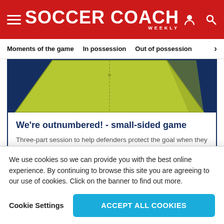SOCCER COACH WEEKLY
Moments of the game   In possession   Out of possession
[Figure (illustration): Yellow-green geometric soccer pitch diagram partially visible, showing a three-dimensional top-down angled view of a small-sided field on a dark blue background.]
We're outnumbered! - small-sided game
Three-part session to help defenders protect the goal when they are short-handed.
We use cookies so we can provide you with the best online experience. By continuing to browse this site you are agreeing to our use of cookies. Click on the banner to find out more.